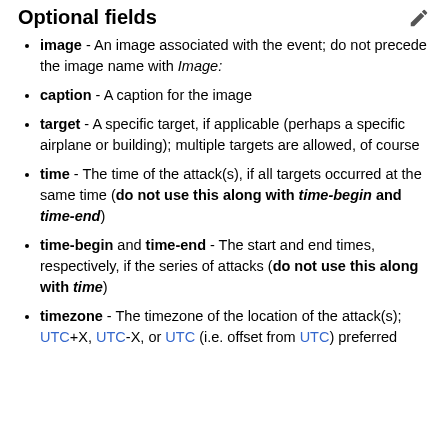Optional fields
image - An image associated with the event; do not precede the image name with Image:
caption - A caption for the image
target - A specific target, if applicable (perhaps a specific airplane or building); multiple targets are allowed, of course
time - The time of the attack(s), if all targets occurred at the same time (do not use this along with time-begin and time-end)
time-begin and time-end - The start and end times, respectively, if the series of attacks (do not use this along with time)
timezone - The timezone of the location of the attack(s); UTC+X, UTC-X, or UTC (i.e. offset from UTC) preferred